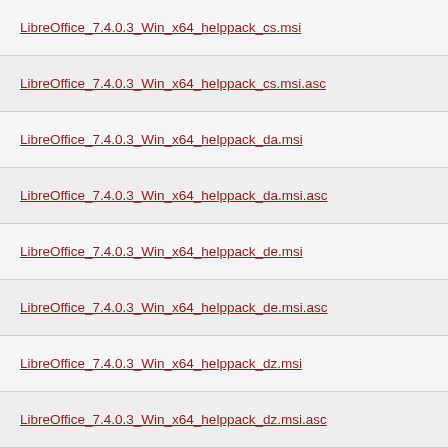LibreOffice_7.4.0.3_Win_x64_helppack_cs.msi
LibreOffice_7.4.0.3_Win_x64_helppack_cs.msi.asc
LibreOffice_7.4.0.3_Win_x64_helppack_da.msi
LibreOffice_7.4.0.3_Win_x64_helppack_da.msi.asc
LibreOffice_7.4.0.3_Win_x64_helppack_de.msi
LibreOffice_7.4.0.3_Win_x64_helppack_de.msi.asc
LibreOffice_7.4.0.3_Win_x64_helppack_dz.msi
LibreOffice_7.4.0.3_Win_x64_helppack_dz.msi.asc